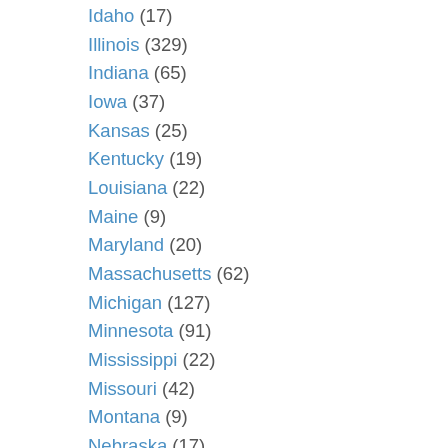Idaho (17)
Illinois (329)
Indiana (65)
Iowa (37)
Kansas (25)
Kentucky (19)
Louisiana (22)
Maine (9)
Maryland (20)
Massachusetts (62)
Michigan (127)
Minnesota (91)
Mississippi (22)
Missouri (42)
Montana (9)
Nebraska (17)
Nevada (16)
New Hampshire (10)
New Jersey (123)
New Mexico (16)
New York (130)
North Carolina (89)